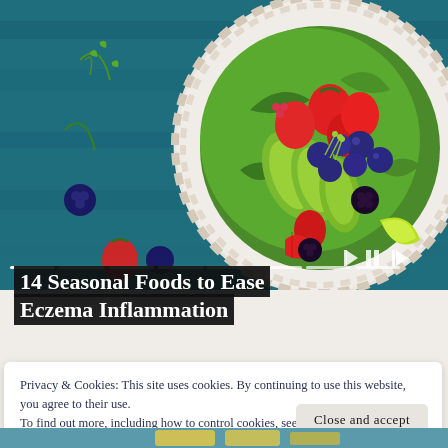[Figure (photo): Colorful salad bowl with strawberries, blueberries, blackberries, avocado slices, and greens on a blue wooden background]
14 Seasonal Foods to Ease Eczema Inflammation
Privacy & Cookies: This site uses cookies. By continuing to use this website, you agree to their use.
To find out more, including how to control cookies, see here: Cookie Policy
Close and accept